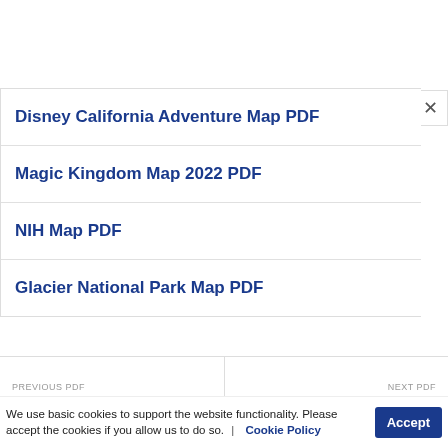Disney California Adventure Map PDF
Magic Kingdom Map 2022 PDF
NIH Map PDF
Glacier National Park Map PDF
PREVIOUS PDF
A Long Walk to Water
NEXT PDF
Ancient Greece Map
We use basic cookies to support the website functionality. Please accept the cookies if you allow us to do so.  |  Cookie Policy  Accept